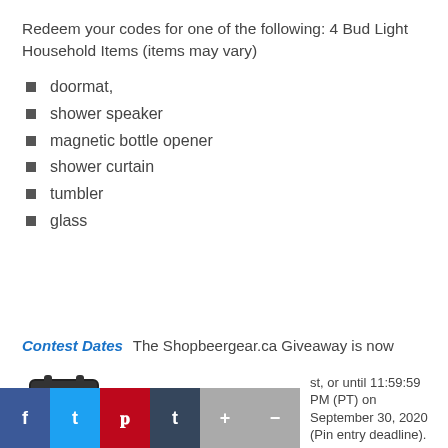Redeem your codes for one of the following: 4 Bud Light Household Items (items may vary)
doormat,
shower speaker
magnetic bottle opener
shower curtain
tumbler
glass
Contest Dates
The Shopbeergear.ca Giveaway is now
[Figure (illustration): Calendar icon with clock overlay]
st, or until 11:59:59 PM (PT) on September 30, 2020 (Pin entry deadline).